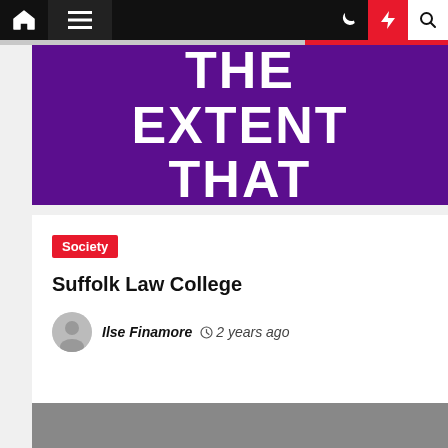Navigation bar with home, menu, dark mode, lightning, and search icons
[Figure (illustration): Purple background hero image with large white bold text reading 'THE EXTENT THAT']
Society
Suffolk Law College
Ilse Finamore  2 years ago
[Figure (photo): Gray placeholder image at bottom of page]